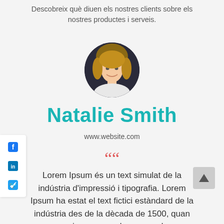Descobreix què diuen els nostres clients sobre els nostres productes i serveis.
[Figure (photo): Circular profile photo of a young woman with blonde hair, smiling, against a dark background]
Natalie Smith
www.website.com
““
Lorem Ipsum és un text simulat de la indústria d'impressió i tipografia. Lorem Ipsum ha estat el text fictici estàndard de la indústria des de la dècada de 1500, quan una impressora desconeguda